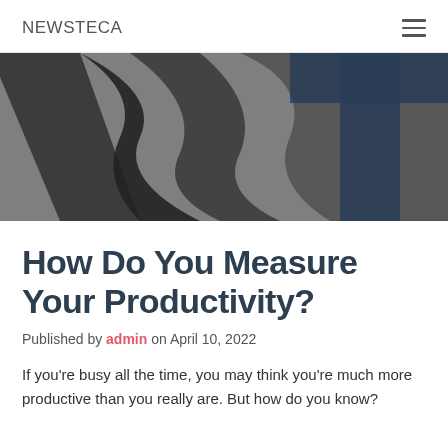NEWSTECA
[Figure (illustration): Large blurred logo image showing letters 'VST' in dark grey/black and blue on a grey background, resembling the NEWSTECA brand mark zoomed in]
How Do You Measure Your Productivity?
Published by admin on April 10, 2022
If you're busy all the time, you may think you're much more productive than you really are. But how do you know?